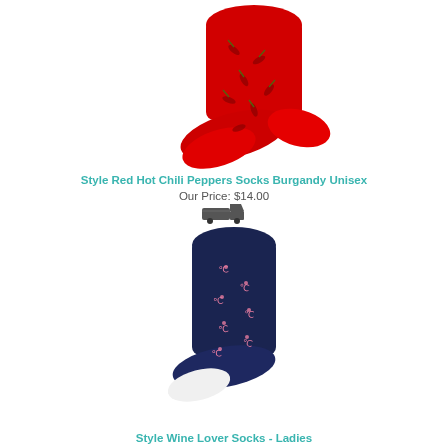[Figure (photo): Red sock with chili pepper pattern, shown at an angle on white background]
Style Red Hot Chili Peppers Socks Burgandy Unisex
Our Price: $14.00
[Figure (photo): Small truck/delivery icon]
[Figure (photo): Navy blue sock with small pink pattern (wine lover / female symbol motifs), shown at an angle on white background]
Style Wine Lover Socks - Ladies